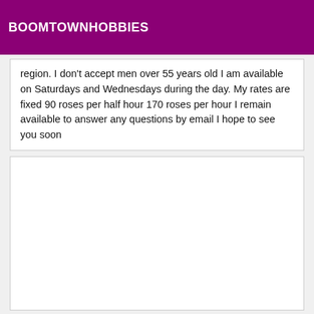BOOMTOWNHOBBIES
region. I don't accept men over 55 years old I am available on Saturdays and Wednesdays during the day. My rates are fixed 90 roses per half hour 170 roses per hour I remain available to answer any questions by email I hope to see you soon
[Figure (other): Empty white content box]